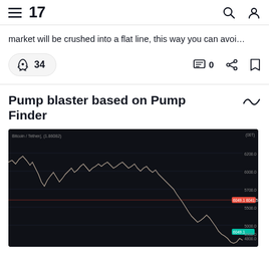TradingView
market will be crushed into a flat line, this way you can avoi…
🚀 34   💬 0
Pump blaster based on Pump Finder
[Figure (screenshot): TradingView chart screenshot showing a cryptocurrency price chart (Bitcoin/Tether) on a dark background with a declining price trend. Chart shows various price levels on the right axis and two colored indicator labels (red and teal) on the right side.]